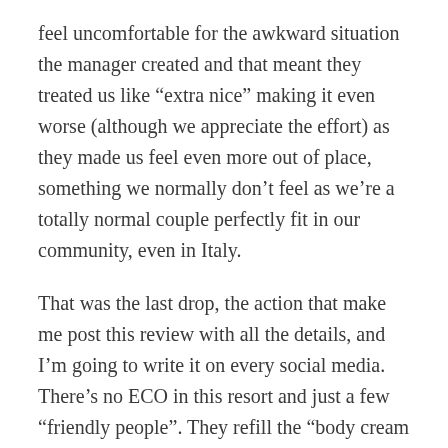feel uncomfortable for the awkward situation the manager created and that meant they treated us like “extra nice” making it even worse (although we appreciate the effort) as they made us feel even more out of place, something we normally don’t feel as we’re a totally normal couple perfectly fit in our community, even in Italy.
That was the last drop, the action that make me post this review with all the details, and I’m going to write it on every social media. There’s no ECO in this resort and just a few “friendly people”. They refill the “body cream shower” bottles (maybe that’s ECO?), but they didn’t clean it between one customer and the other